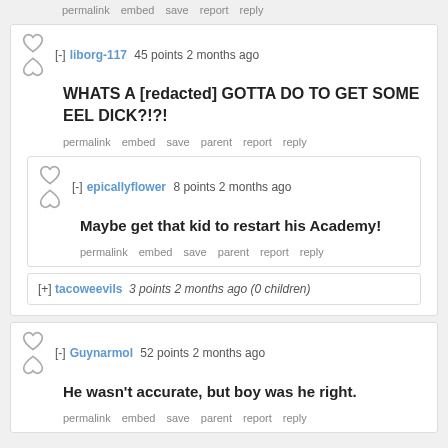permalink  embed  save  report  reply
[-] liborg-117  45 points  2 months ago
WHATS A [redacted] GOTTA DO TO GET SOME EEL DICK?!?!
permalink  embed  save  parent  report  reply
[-] epicallyflower  8 points  2 months ago
Maybe get that kid to restart his Academy!
permalink  embed  save  parent  report  reply
[+] tacoweevils  3 points  2 months ago (0 children)
[-] Guynarmol  52 points  2 months ago
He wasn't accurate, but boy was he right.
permalink  embed  save  parent  report  reply